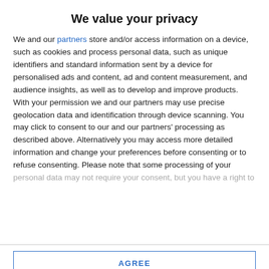We value your privacy
We and our partners store and/or access information on a device, such as cookies and process personal data, such as unique identifiers and standard information sent by a device for personalised ads and content, ad and content measurement, and audience insights, as well as to develop and improve products. With your permission we and our partners may use precise geolocation data and identification through device scanning. You may click to consent to our and our partners' processing as described above. Alternatively you may access more detailed information and change your preferences before consenting or to refuse consenting. Please note that some processing of your personal data may not require your consent, but you have a right to
AGREE
MORE OPTIONS
Grants of up to €50,000 announced to